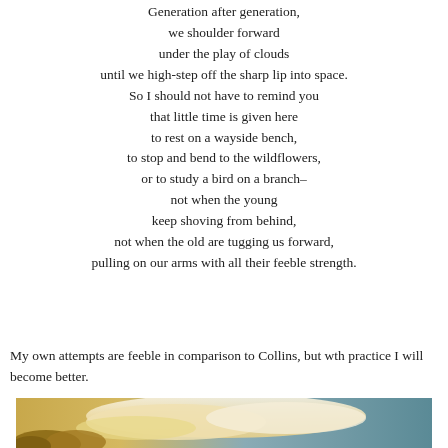Generation after generation,
we shoulder forward
under the play of clouds
until we high-step off the sharp lip into space.
So I should not have to remind you
that little time is given here
to rest on a wayside bench,
to stop and bend to the wildflowers,
or to study a bird on a branch–
not when the young
keep shoving from behind,
not when the old are tugging us forward,
pulling on our arms with all their feeble strength.
My own attempts are feeble in comparison to Collins, but wth practice I will become better.
[Figure (photo): Sky with dramatic clouds and foliage, warm tones at bottom left merging into teal sky]